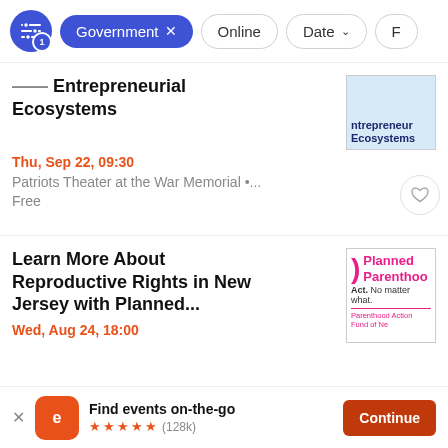Government × | Online | Date ↓ | F...
Building Entrepreneurial Ecosystems
Thu, Sep 22, 09:30
Patriots Theater at the War Memorial •...
Free
Learn More About Reproductive Rights in New Jersey with Planned...
Wed, Aug 24, 18:00
Find events on-the-go ★★★★★ (128k)